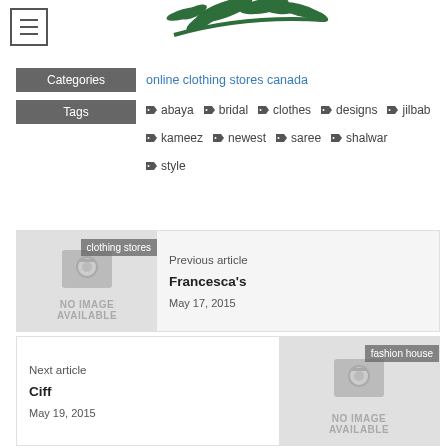[Figure (logo): Green tree/plant logo at top center]
Categories   online clothing stores canada
Tags   abaya  bridal  clothes  designs  jilbab  kameez  newest  saree  shalwar  style
Previous article
Francesca's
May 17, 2015
Next article
Ciff
May 19, 2015